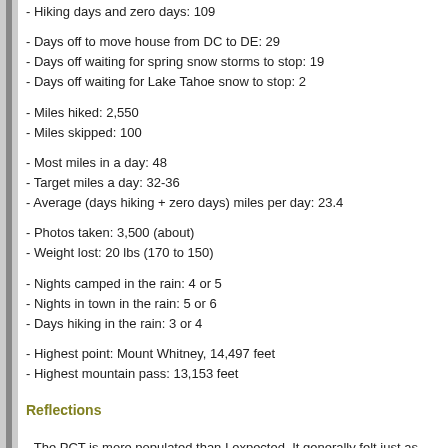- Hiking days and zero days: 109
- Days off to move house from DC to DE: 29
- Days off waiting for spring snow storms to stop: 19
- Days off waiting for Lake Tahoe snow to stop: 2
- Miles hiked: 2,550
- Miles skipped: 100
- Most miles in a day: 48
- Target miles a day: 32-36
- Average (days hiking + zero days) miles per day: 23.4
- Photos taken: 3,500 (about)
- Weight lost: 20 lbs (170 to 150)
- Nights camped in the rain: 4 or 5
- Nights in town in the rain: 5 or 6
- Days hiking in the rain: 3 or 4
- Highest point: Mount Whitney, 14,497 feet
- Highest mountain pass: 13,153 feet
Reflections
- The PCT is more populated than I expected. It generally felt just as crow... Trail - which means seeing anywhere from 1 to 50 people a day and rarel... seeing someone.
- The...